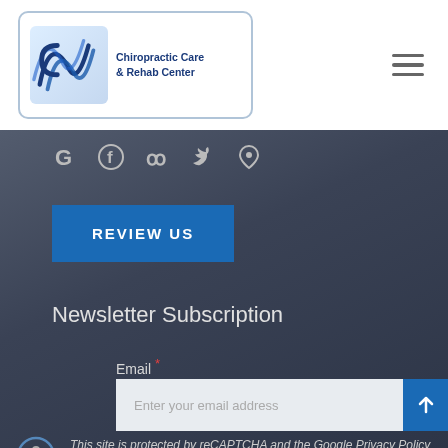[Figure (logo): Chiropractic Care & Rehab Center logo with blue wave/arc design]
[Figure (infographic): Hamburger menu icon (three horizontal lines)]
[Figure (infographic): Social media icons: Google, Facebook, Yelp, Twitter, Google Maps pin]
REVIEW US
Newsletter Subscription
Email *
Enter your email address
This site is protected by reCAPTCHA and the Google Privacy Policy and Terms of